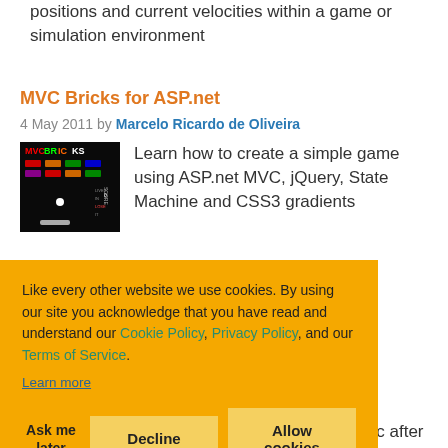positions and current velocities within a game or simulation environment
MVC Bricks for ASP.net
4 May 2011 by Marcelo Ricardo de Oliveira
[Figure (screenshot): MVC Bricks game screenshot showing a dark brick-style game screen with colorful bricks]
Learn how to create a simple game using ASP.net MVC, jQuery, State Machine and CSS3 gradients
Like every other website we use cookies. By using our site you acknowledge that you have read and understand our Cookie Policy, Privacy Policy, and our Terms of Service. Learn more
How to Resume the User's music after